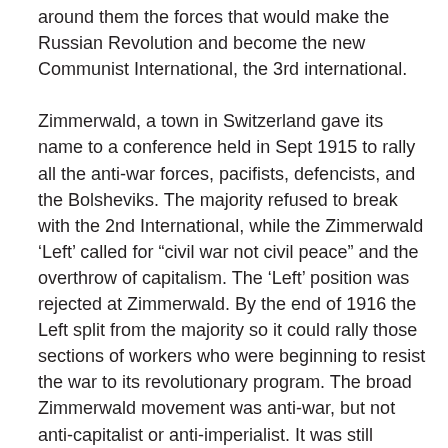around them the forces that would make the Russian Revolution and become the new Communist International, the 3rd international.

Zimmerwald, a town in Switzerland gave its name to a conference held in Sept 1915 to rally all the anti-war forces, pacifists, defencists, and the Bolsheviks. The majority refused to break with the 2nd International, while the Zimmerwald ‘Left’ called for “civil war not civil peace” and the overthrow of capitalism. The ‘Left’ position was rejected at Zimmerwald. By the end of 1916 the Left split from the majority so it could rally those sections of workers who were beginning to resist the war to its revolutionary program. The broad Zimmerwald movement was anti-war, but not anti-capitalist or anti-imperialist. It was still heavily influenced by chauvinism and pacifism. Why then did the Bolsheviks remain in it for more than a year? Did they